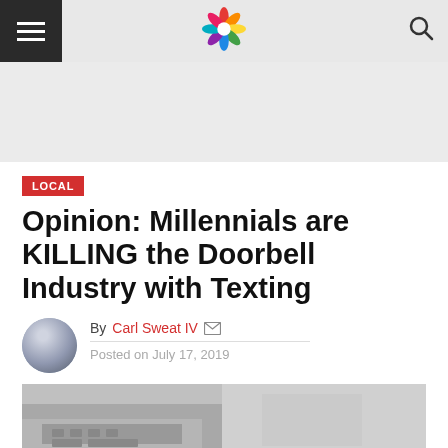Navigation bar with hamburger menu, colorful flower logo, and search icon
[Figure (other): Advertisement banner area (light gray background)]
LOCAL
Opinion: Millennials are KILLING the Doorbell Industry with Texting
By Carl Sweat IV
Posted on July 17, 2019
[Figure (photo): Black and white photo showing hands on a laptop/keyboard]